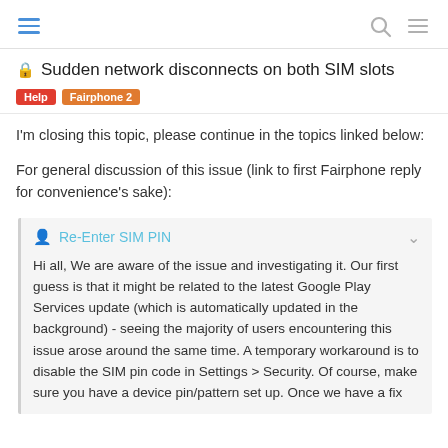navigation header with hamburger menu, search, and menu icons
Sudden network disconnects on both SIM slots
Help  Fairphone 2
I'm closing this topic, please continue in the topics linked below:
For general discussion of this issue (link to first Fairphone reply for convenience's sake):
Re-Enter SIM PIN
Hi all, We are aware of the issue and investigating it. Our first guess is that it might be related to the latest Google Play Services update (which is automatically updated in the background) - seeing the majority of users encountering this issue arose around the same time. A temporary workaround is to disable the SIM pin code in Settings > Security. Of course, make sure you have a device pin/pattern set up. Once we have a fix